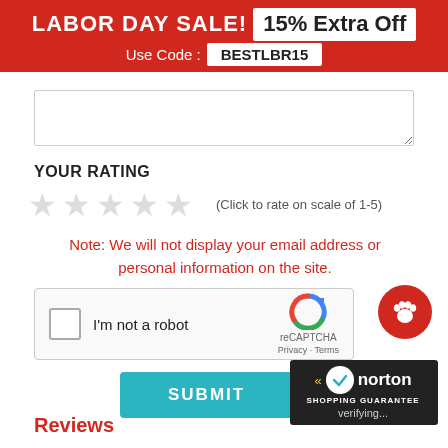[Figure (infographic): Red banner with LABOR DAY SALE! 15% Extra Off and Use Code: BESTLBR15]
[Figure (screenshot): Text area input field for review]
YOUR RATING
[Figure (infographic): Five empty star rating icons with hint text (Click to rate on scale of 1-5)]
Note: We will not display your email address or personal information on the site.
[Figure (screenshot): reCAPTCHA widget with checkbox I'm not a robot and reCAPTCHA logo with Privacy and Terms links]
[Figure (logo): Red circle with paw print icon]
[Figure (infographic): SUBMIT button in teal color]
[Figure (logo): Norton Shopping Guarantee badge with verifying... text]
Reviews